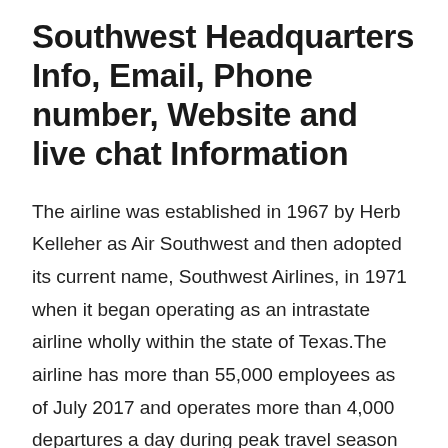Southwest Headquarters Info, Email, Phone number, Website and live chat Information
The airline was established in 1967 by Herb Kelleher as Air Southwest and then adopted its current name, Southwest Airlines, in 1971 when it began operating as an intrastate airline wholly within the state of Texas.The airline has more than 55,000 employees as of July 2017 and operates more than 4,000 departures a day during peak travel season